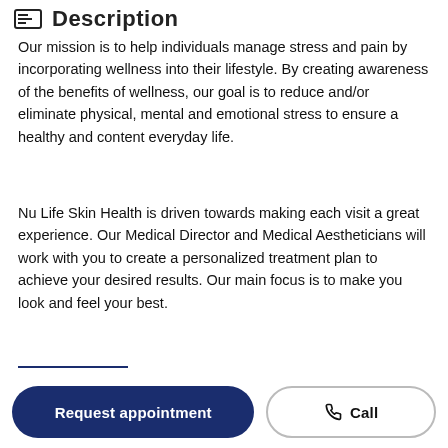Description
Our mission is to help individuals manage stress and pain by incorporating wellness into their lifestyle. By creating awareness of the benefits of wellness, our goal is to reduce and/or eliminate physical, mental and emotional stress to ensure a healthy and content everyday life.
Nu Life Skin Health is driven towards making each visit a great experience. Our Medical Director and Medical Aestheticians will work with you to create a personalized treatment plan to achieve your desired results. Our main focus is to make you look and feel your best.